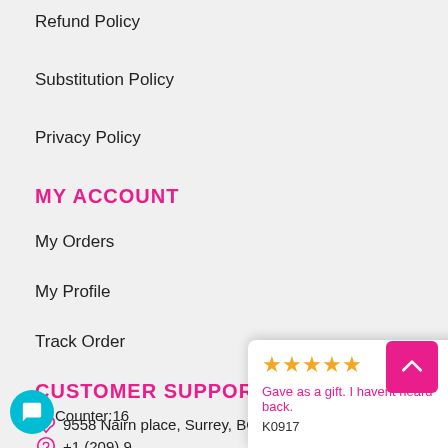Refund Policy
Substitution Policy
Privacy Policy
MY ACCOUNT
My Orders
My Profile
Track Order
CUSTOMER SUPPORT
9558 Nairn place, Surrey, BC, V3V6Y4
+1 (209) 9...
Counter:16
[Figure (other): Review popup overlay with 5 stars and text: Gave as a gift. I havent heard back. Reviewer: K0917]